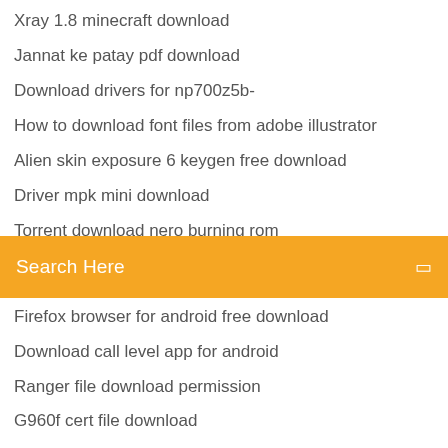Xray 1.8 minecraft download
Jannat ke patay pdf download
Download drivers for np700z5b-
How to download font files from adobe illustrator
Alien skin exposure 6 keygen free download
Driver mpk mini download
Torrent download nero burning rom
[Figure (screenshot): Orange search bar with 'Search Here' text and a small icon on the right]
Firefox browser for android free download
Download call level app for android
Ranger file download permission
G960f cert file download
I cant open downloaded files in windows 8
Giddy up junction vbs logo downloads free
Akashic tradition book pdf download
Download drivers for huawei matebook wrt-w29
Cubic explorer windows 10 download
Download from naver mods